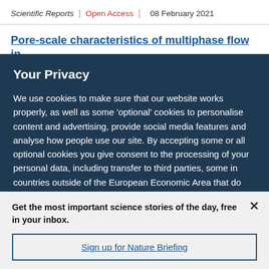Scientific Reports | Open Access | 08 February 2021
Pore-scale characteristics of multiphase flow in
Your Privacy
We use cookies to make sure that our website works properly, as well as some ‘optional’ cookies to personalise content and advertising, provide social media features and analyse how people use our site. By accepting some or all optional cookies you give consent to the processing of your personal data, including transfer to third parties, some in countries outside of the European Economic Area that do not offer the same data protection standards as the country where you live. You can decide which optional cookies to accept by clicking on ‘Manage Settings’, where you can
Get the most important science stories of the day, free in your inbox.
Sign up for Nature Briefing